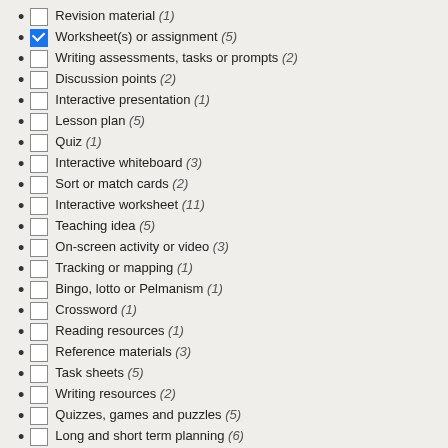Revision material (1)
Worksheet(s) or assignment (5)
Writing assessments, tasks or prompts (2)
Discussion points (2)
Interactive presentation (1)
Lesson plan (5)
Quiz (1)
Interactive whiteboard (3)
Sort or match cards (2)
Interactive worksheet (11)
Teaching idea (5)
On-screen activity or video (3)
Tracking or mapping (1)
Bingo, lotto or Pelmanism (1)
Crossword (1)
Reading resources (1)
Reference materials (3)
Task sheets (5)
Writing resources (2)
Quizzes, games and puzzles (5)
Long and short term planning (6)
On-screen resources (23)
Oral and aural (3)